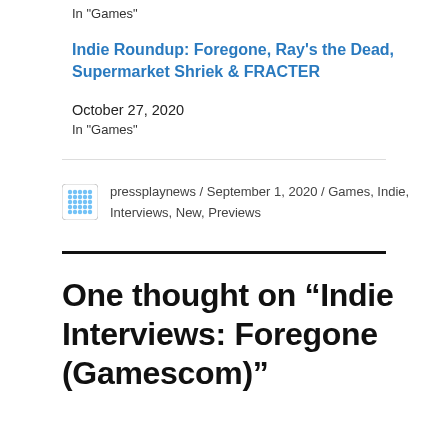In "Games"
Indie Roundup: Foregone, Ray's the Dead, Supermarket Shriek & FRACTER
October 27, 2020
In "Games"
pressplaynews / September 1, 2020 / Games, Indie, Interviews, New, Previews
One thought on “Indie Interviews: Foregone (Gamescom)”